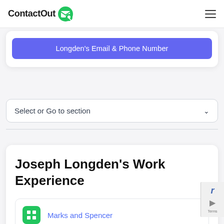ContactOut
Longden's Email & Phone Number
Select or Go to section
Joseph Longden's Work Experience
Marks and Spencer